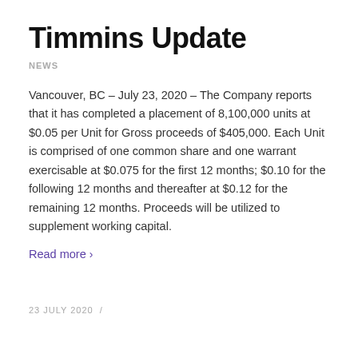Timmins Update
NEWS
Vancouver, BC – July 23, 2020 – The Company reports that it has completed a placement of 8,100,000 units at $0.05 per Unit for Gross proceeds of $405,000. Each Unit is comprised of one common share and one warrant exercisable at $0.075 for the first 12 months; $0.10 for the following 12 months and thereafter at $0.12 for the remaining 12 months. Proceeds will be utilized to supplement working capital.
Read more ›
23 JULY 2020  /